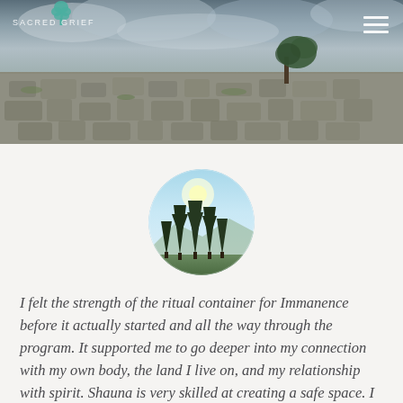[Figure (photo): Wide landscape hero photo of a rocky limestone pavement with a lone windswept tree in the background under a dramatic cloudy sky. A Sacred Grief logo (teal tree icon) and text appear top-left, with a hamburger menu icon top-right.]
[Figure (photo): Circular portrait photo showing tall pine/fir trees against a bright sky, viewed from below or at an angle, with a mountainous horizon in the background.]
I felt the strength of the ritual container for Immanence before it actually started and all the way through the program. It supported me to go deeper into my connection with my own body, the land I live on, and my relationship with spirit. Shauna is very skilled at creating a safe space. I